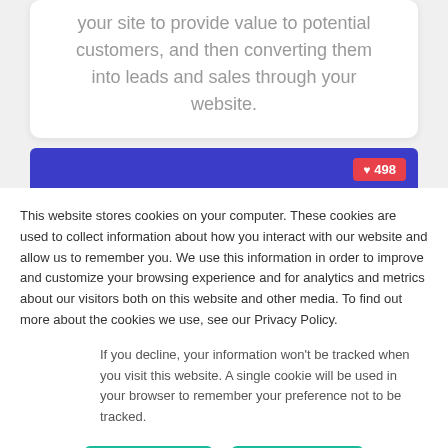your site to provide value to potential customers, and then converting them into leads and sales through your website.
[Figure (screenshot): Social media post screenshot with blue/purple background and a red heart badge showing 498 likes]
This website stores cookies on your computer. These cookies are used to collect information about how you interact with our website and allow us to remember you. We use this information in order to improve and customize your browsing experience and for analytics and metrics about our visitors both on this website and other media. To find out more about the cookies we use, see our Privacy Policy.
If you decline, your information won't be tracked when you visit this website. A single cookie will be used in your browser to remember your preference not to be tracked.